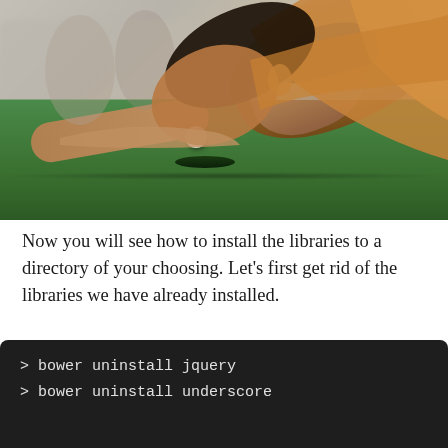[Figure (photo): A person leaning down very close to a golf ball on a putting green, appearing to blow or putt the ball toward the hole with their mouth. The green is visible with the hole nearby.]
Now you will see how to install the libraries to a directory of your choosing. Let's first get rid of the libraries we have already installed.
> bower uninstall jquery
> bower uninstall underscore